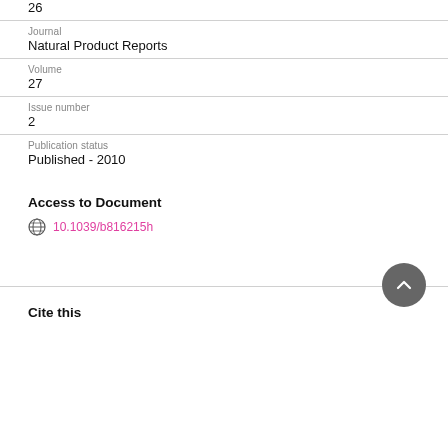26
Journal
Natural Product Reports
Volume
27
Issue number
2
Publication status
Published - 2010
Access to Document
10.1039/b816215h
Cite this